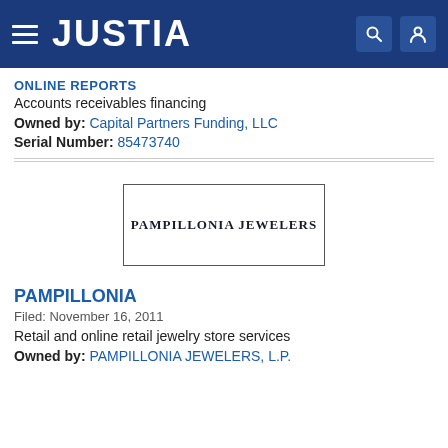JUSTIA
ONLINE REPORTS
Accounts receivables financing
Owned by: Capital Partners Funding, LLC
Serial Number: 85473740
[Figure (logo): Trademark logo image showing 'PAMPILLONIA JEWELERS' text inside a rectangular border]
PAMPILLONIA
Filed: November 16, 2011
Retail and online retail jewelry store services
Owned by: PAMPILLONIA JEWELERS, L.P.